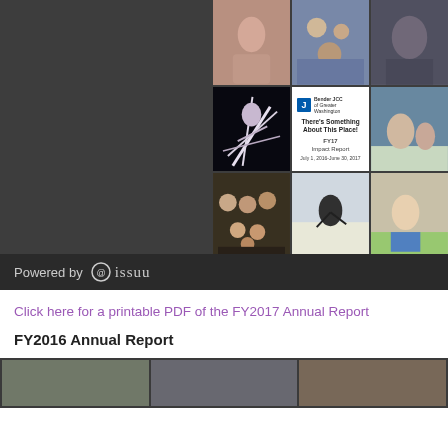[Figure (screenshot): Issuu embedded viewer showing Bender JCC of Greater Washington FY17 Impact Report cover, with a collage of photos of people dancing, children, fitness activities. Footer shows 'Powered by issuu' branding.]
Click here for a printable PDF of the FY2017 Annual Report
FY2016 Annual Report
[Figure (screenshot): Partial preview of FY2016 Annual Report Issuu embed, showing dark background with photo grid starting to appear at the bottom of the page.]